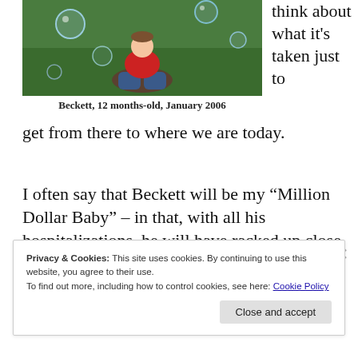[Figure (photo): Photo of Beckett, a baby/toddler in a red shirt and jeans sitting on green grass surrounded by soap bubbles]
Beckett, 12 months-old, January 2006
think about what it's taken just to get from there to where we are today.
I often say that Beckett will be my “Million Dollar Baby” – in that, with all his hospitalizations, he will have racked up close to $1 million in medical bills by his 18th birthday.
Privacy & Cookies: This site uses cookies. By continuing to use this website, you agree to their use.
To find out more, including how to control cookies, see here: Cookie Policy